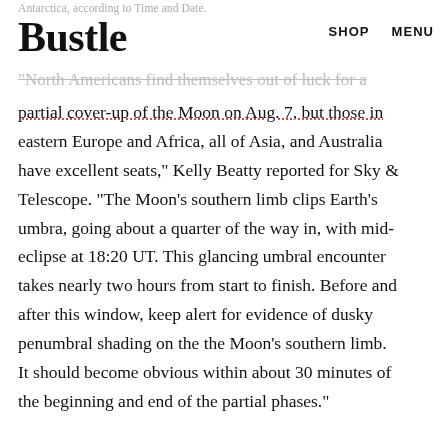Antarctica, according to Time and Date.
Bustle
SHOP   MENU
"North Americans find themselves out of luck for a partial cover-up of the Moon on Aug. 7, but those in eastern Europe and Africa, all of Asia, and Australia have excellent seats," Kelly Beatty reported for Sky & Telescope. "The Moon's southern limb clips Earth's umbra, going about a quarter of the way in, with mid-eclipse at 18:20 UT. This glancing umbral encounter takes nearly two hours from start to finish. Before and after this window, keep alert for evidence of dusky penumbral shading on the the Moon's southern limb. It should become obvious within about 30 minutes of the beginning and end of the partial phases."